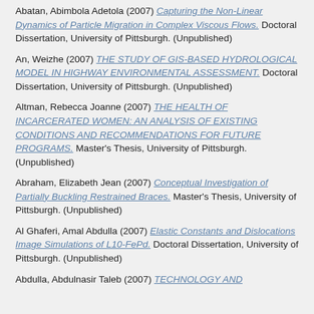Abatan, Abimbola Adetola (2007) Capturing the Non-Linear Dynamics of Particle Migration in Complex Viscous Flows. Doctoral Dissertation, University of Pittsburgh. (Unpublished)
An, Weizhe (2007) THE STUDY OF GIS-BASED HYDROLOGICAL MODEL IN HIGHWAY ENVIRONMENTAL ASSESSMENT. Doctoral Dissertation, University of Pittsburgh. (Unpublished)
Altman, Rebecca Joanne (2007) THE HEALTH OF INCARCERATED WOMEN: AN ANALYSIS OF EXISTING CONDITIONS AND RECOMMENDATIONS FOR FUTURE PROGRAMS. Master's Thesis, University of Pittsburgh. (Unpublished)
Abraham, Elizabeth Jean (2007) Conceptual Investigation of Partially Buckling Restrained Braces. Master's Thesis, University of Pittsburgh. (Unpublished)
Al Ghaferi, Amal Abdulla (2007) Elastic Constants and Dislocations Image Simulations of L10-FePd. Doctoral Dissertation, University of Pittsburgh. (Unpublished)
Abdulla, Abdulnasir Taleb (2007) TECHNOLOGY AND...